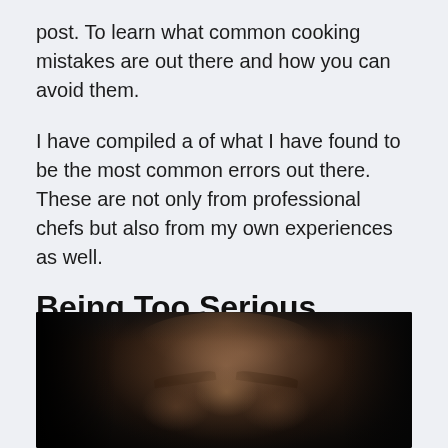post. To learn what common cooking mistakes are out there and how you can avoid them.
I have compiled a of what I have found to be the most common errors out there. These are not only from professional chefs but also from my own experiences as well.
Being Too Serious
[Figure (photo): Close-up dark portrait of a man's face looking downward with dramatic low-key lighting, mostly dark background with highlights on forehead and nose area]